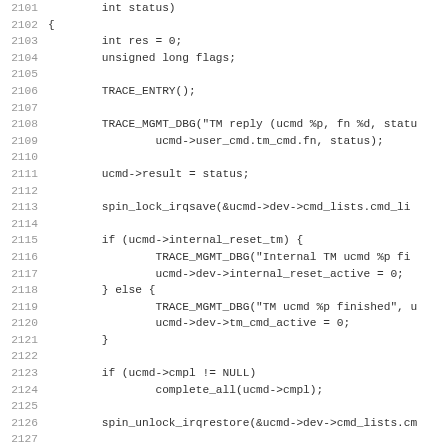[Figure (other): Source code listing in C, lines 2101-2132+, showing a function body with TRACE macros, spin lock operations, and conditional reset logic.]